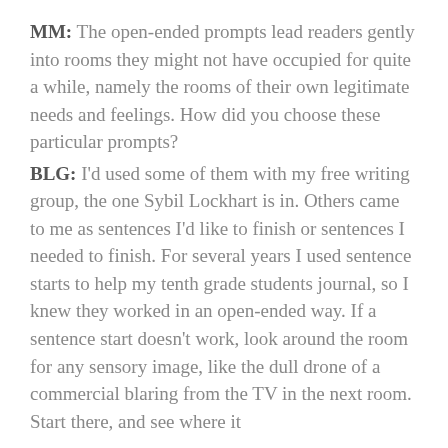MM: The open-ended prompts lead readers gently into rooms they might not have occupied for quite a while, namely the rooms of their own legitimate needs and feelings. How did you choose these particular prompts?
BLG: I'd used some of them with my free writing group, the one Sybil Lockhart is in. Others came to me as sentences I'd like to finish or sentences I needed to finish. For several years I used sentence starts to help my tenth grade students journal, so I knew they worked in an open-ended way. If a sentence start doesn't work, look around the room for any sensory image, like the dull drone of a commercial blaring from the TV in the next room. Start there, and see where it